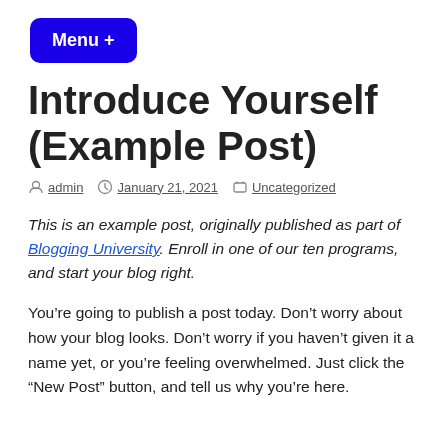Menu +
Introduce Yourself (Example Post)
By admin  January 21, 2021  Uncategorized
This is an example post, originally published as part of Blogging University. Enroll in one of our ten programs, and start your blog right.
You’re going to publish a post today. Don’t worry about how your blog looks. Don’t worry if you haven’t given it a name yet, or you’re feeling overwhelmed. Just click the “New Post” button, and tell us why you’re here.